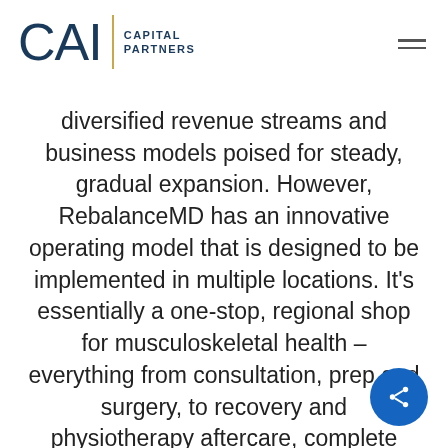CAI Capital Partners
diversified revenue streams and business models poised for steady, gradual expansion. However, RebalanceMD has an innovative operating model that is designed to be implemented in multiple locations. It’s essentially a one-stop, regional shop for musculoskeletal health – everything from consultation, prep and surgery, to recovery and physiotherapy aftercare, complete with a proprietary way of triaging